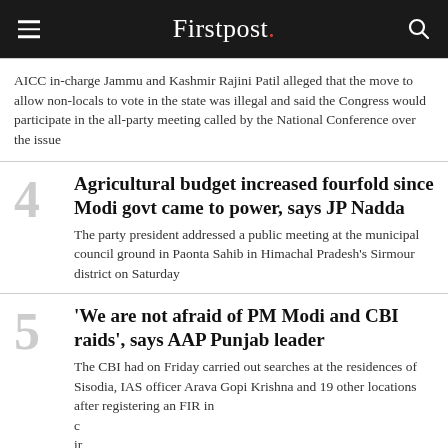Firstpost.
AICC in-charge Jammu and Kashmir Rajini Patil alleged that the move to allow non-locals to vote in the state was illegal and said the Congress would participate in the all-party meeting called by the National Conference over the issue
4 Agricultural budget increased fourfold since Modi govt came to power, says JP Nadda
The party president addressed a public meeting at the municipal council ground in Paonta Sahib in Himachal Pradesh's Sirmour district on Saturday
5 'We are not afraid of PM Modi and CBI raids', says AAP Punjab leader
The CBI had on Friday carried out searches at the residences of Sisodia, IAS officer Arava Gopi Krishna and 19 other locations after registering an FIR in c ir
[Figure (infographic): Moneycontrol PRO advertisement banner: GET MONEYCONTROL PRO AT NET ZERO COST* - Grab Vouchers Worth Rs. 1500]